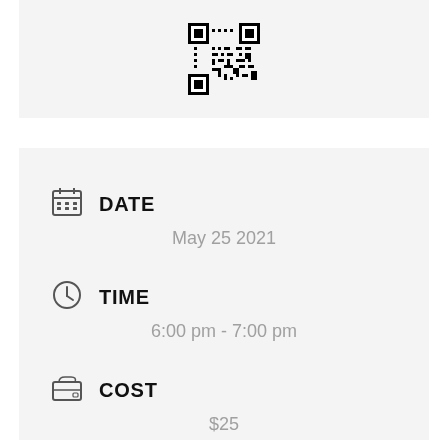[Figure (other): QR code image shown in a light gray box at the top of the page]
DATE
May 25 2021
TIME
6:00 pm - 7:00 pm
COST
$25